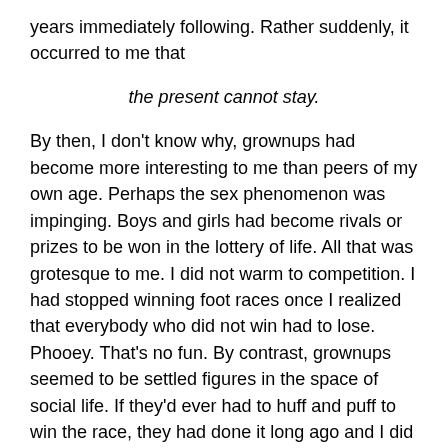years immediately following. Rather suddenly, it occurred to me that
the present cannot stay.
By then, I don't know why, grownups had become more interesting to me than peers of my own age. Perhaps the sex phenomenon was impinging. Boys and girls had become rivals or prizes to be won in the lottery of life. All that was grotesque to me. I did not warm to competition. I had stopped winning foot races once I realized that everybody who did not win had to lose. Phooey. That's no fun. By contrast, grownups seemed to be settled figures in the space of social life. If they'd ever had to huff and puff to win the race, they had done it long ago and I did not have to know about it.